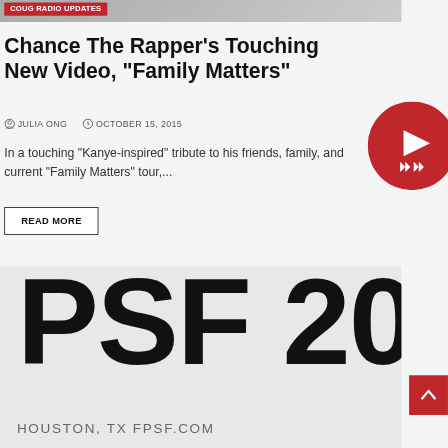[Figure (photo): Top portion of an article image showing a person with a tag label 'Coug Radio Updates' in red]
Chance The Rapper's Touching New Video, “Family Matters”
ⓘ JULIA ONG   ⏰ OCTOBER 15, 2015
In a touching “Kanye-inspired” tribute to his friends, family, and current “Family Matters” tour,...
READ MORE
[Figure (screenshot): Large promotional image for FPSF (Free Press Summer Fest) 2015 in Houston, TX with text 'PSF 20' visible and crowd of people at bottom. Red play/control overlay visible on right side.]